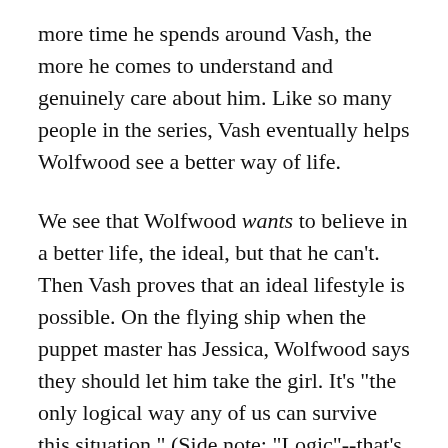more time he spends around Vash, the more he comes to understand and genuinely care about him. Like so many people in the series, Vash eventually helps Wolfwood see a better way of life.
We see that Wolfwood wants to believe in a better life, the ideal, but that he can't. Then Vash proves that an ideal lifestyle is possible. On the flying ship when the puppet master has Jessica, Wolfwood says they should let him take the girl. It's "the only logical way any of us can survive this situation." (Side note: "Logic"--that's Knives' beliefs again. He's all about sacrificing people for the sake of logic.) But Wolfwood follows that up by saying he knows someone who has an uncanny ability to save everyone: Vash the